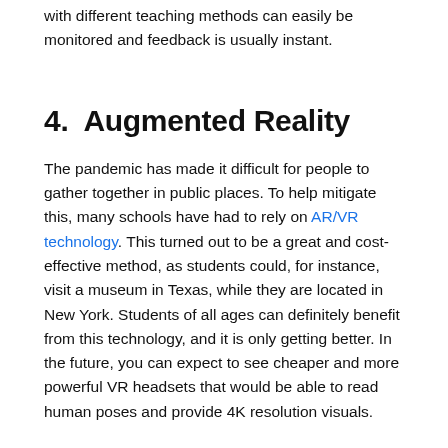with different teaching methods can easily be monitored and feedback is usually instant.
4.  Augmented Reality
The pandemic has made it difficult for people to gather together in public places. To help mitigate this, many schools have had to rely on AR/VR technology. This turned out to be a great and cost-effective method, as students could, for instance, visit a museum in Texas, while they are located in New York. Students of all ages can definitely benefit from this technology, and it is only getting better. In the future, you can expect to see cheaper and more powerful VR headsets that would be able to read human poses and provide 4K resolution visuals.
A lot of essays have been written about the future of AR/VR. If you find that you have an essay assignment coming up on